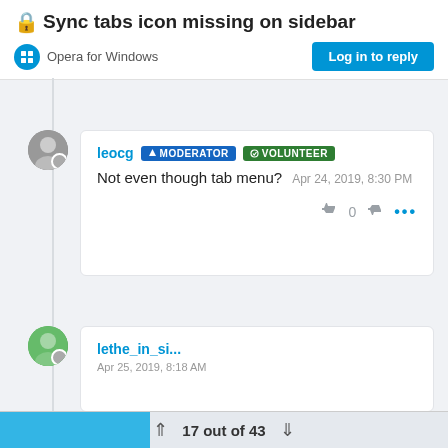🔒Sync tabs icon missing on sidebar
Opera for Windows
Log in to reply
leocg MODERATOR VOLUNTEER
Not even though tab menu?  Apr 24, 2019, 8:30 PM
👍 0 👎 •••
17 out of 43